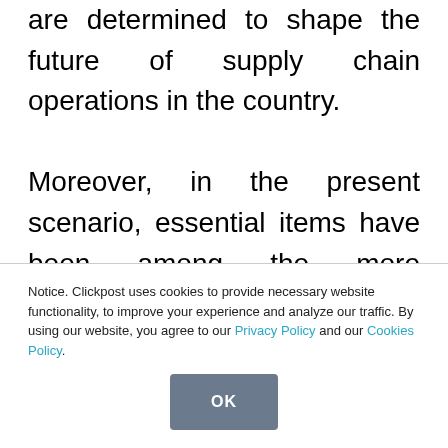are determined to shape the future of supply chain operations in the country.

Moreover, in the present scenario, essential items have been among the more substantial frequencies in shipping, and small enterprises are reviving gradually. While food/cold
Notice. Clickpost uses cookies to provide necessary website functionality, to improve your experience and analyze our traffic. By using our website, you agree to our Privacy Policy and our Cookies Policy.